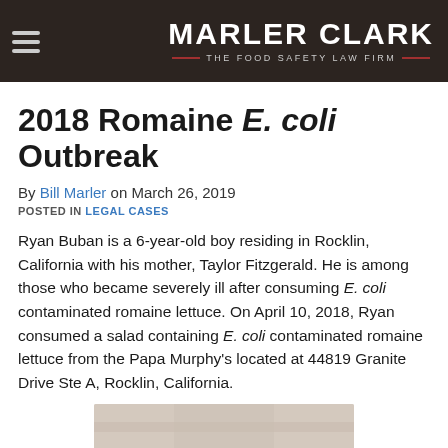MARLER CLARK — THE FOOD SAFETY LAW FIRM
2018 Romaine E. coli Outbreak
By Bill Marler on March 26, 2019
POSTED IN LEGAL CASES
Ryan Buban is a 6-year-old boy residing in Rocklin, California with his mother, Taylor Fitzgerald. He is among those who became severely ill after consuming E. coli contaminated romaine lettuce. On April 10, 2018, Ryan consumed a salad containing E. coli contaminated romaine lettuce from the Papa Murphy's located at 44819 Granite Drive Ste A, Rocklin, California.
[Figure (photo): Partial image of a food-related photo at bottom of page]